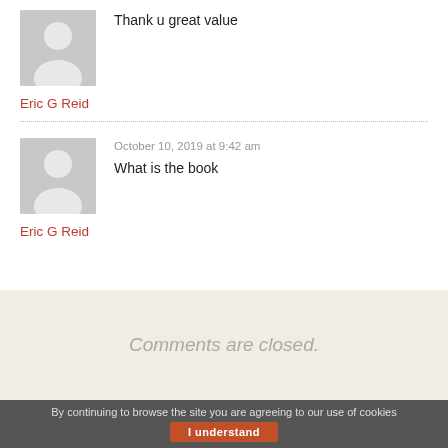Thank u great value
Eric G Reid
October 10, 2019 at 9:42 am
What is the book
Eric G Reid
Comments are closed.
By continuing to browse the site you are agreeing to our use of cookies
I understand